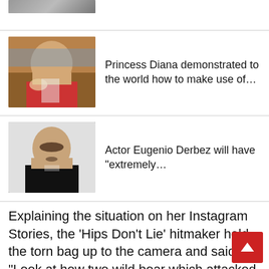[Figure (photo): Partial photo of a person at top of page (cropped)]
[Figure (photo): Photo of Princess Diana surrounded by people, holding flowers]
Princess Diana demonstrated to the world how to make use of…
[Figure (photo): Photo of actor Eugenio Derbez in a tuxedo]
Actor Eugenio Derbez will have "extremely…
Explaining the situation on her Instagram Stories, the ‘Hips Don’t Lie’ hitmaker held the torn bag up to the camera and said: “Look at how two wild boar which attacked me in the park have left my bag.

“They were taking my bag to the woods with my mobile phone in it.